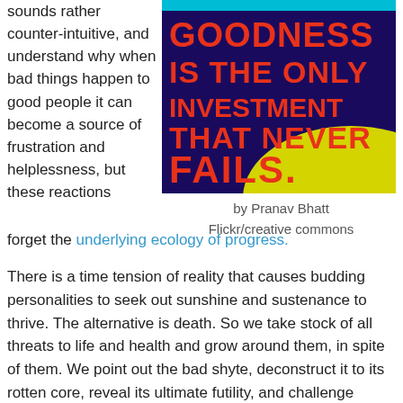sounds rather counter-intuitive, and understand why when bad things happen to good people it can become a source of frustration and helplessness, but these reactions forget the underlying ecology of progress.
[Figure (photo): Motivational poster with text 'GOODNESS IS THE ONLY INVESTMENT THAT NEVER FAILS.' in red block letters on dark purple background with yellow element]
by Pranav Bhatt
Flickr/creative commons
There is a time tension of reality that causes budding personalities to seek out sunshine and sustenance to thrive. The alternative is death. So we take stock of all threats to life and health and grow around them, in spite of them. We point out the bad shyte, deconstruct it to its rotten core, reveal its ultimate futility, and challenge ourselves and others to look beyond and work around.